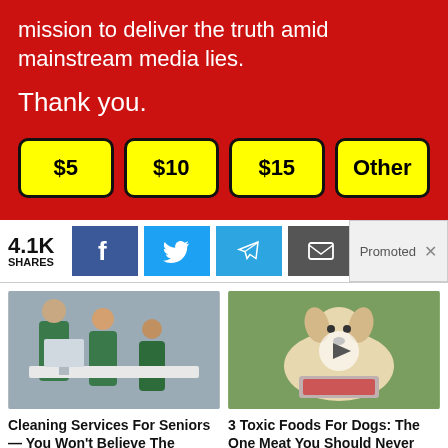mission to deliver the truth amid mainstream media lies.
Thank you.
$5
$10
$15
Other
4.1K SHARES
[Figure (infographic): Social share buttons: Facebook, Twitter, Telegram, Email]
Promoted ×
[Figure (photo): Two people in green aprons cleaning an office]
Cleaning Services For Seniors — You Won't Believe The Prices
🔥 2,159
[Figure (photo): A golden retriever dog with raw meat, video play button overlay]
3 Toxic Foods For Dogs: The One Meat You Should Never Feed Your Dog
🔥 6,450